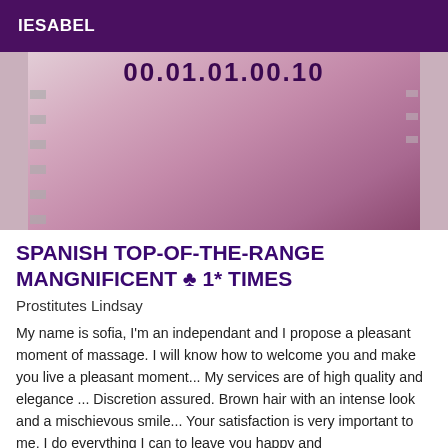IESABEL
[Figure (photo): Photo showing a pink/mauve high-heeled shoe or boot against a light background with ruler/measurement markings visible. A number overlay '00.01.01.00.10' appears at the top of the image.]
SPANISH TOP-OF-THE-RANGE MANGNIFICENT ♣ 1* TIMES
Prostitutes Lindsay
My name is sofia, I'm an independant and I propose a pleasant moment of massage. I will know how to welcome you and make you live a pleasant moment... My services are of high quality and elegance ... Discretion assured. Brown hair with an intense look and a mischievous smile... Your satisfaction is very important to me, I do everything I can to leave you happy and